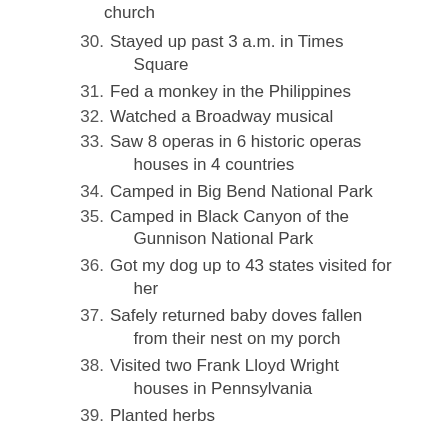church
30. Stayed up past 3 a.m. in Times Square
31. Fed a monkey in the Philippines
32. Watched a Broadway musical
33. Saw 8 operas in 6 historic operas houses in 4 countries
34. Camped in Big Bend National Park
35. Camped in Black Canyon of the Gunnison National Park
36. Got my dog up to 43 states visited for her
37. Safely returned baby doves fallen from their nest on my porch
38. Visited two Frank Lloyd Wright houses in Pennsylvania
39. Planted herbs